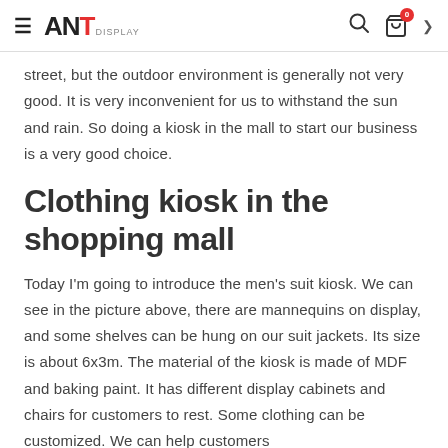ANT DISPLAY
street, but the outdoor environment is generally not very good. It is very inconvenient for us to withstand the sun and rain. So doing a kiosk in the mall to start our business is a very good choice.
Clothing kiosk in the shopping mall
Today I'm going to introduce the men's suit kiosk. We can see in the picture above, there are mannequins on display, and some shelves can be hung on our suit jackets. Its size is about 6x3m. The material of the kiosk is made of MDF and baking paint. It has different display cabinets and chairs for customers to rest. Some clothing can be customized. We can help customers